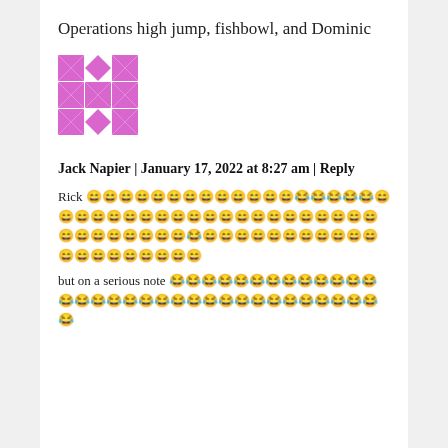Operations high jump, fishbowl, and Dominic
[Figure (illustration): A pink/magenta geometric pattern avatar image consisting of triangles and diamond shapes arranged in a grid pattern.]
Jack Napier | January 17, 2022 at 8:27 am | Reply
Rick 😄😄😄😄😄😄😄😄😄😄😄😄😄😂😂😂😂😂😄😄😄😄😄😄😄😄😄😄😄😄😄😄😄😄😄😄😄😄😄😄😄😄😄😄😄😄😄😂😄😄😄😄😄😄😄😄😄😄😄😄😄😄😄😄😄😄😄😄
but on a serious note 😂😂😂😂😂😂😂😂😂😂😂😂😂😂😂😂😂😂😂😂😂😂😂😂😂😂😂😂😂😂😂😂😂😂